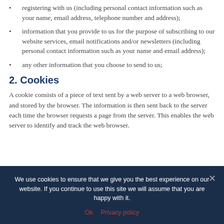registering with us (including personal contact information such as your name, email address, telephone number and address);
information that you provide to us for the purpose of subscribing to our website services, email notifications and/or newsletters (including personal contact information such as your name and email address);
any other information that you choose to send to us;
2. Cookies
A cookie consists of a piece of text sent by a web server to a web browser, and stored by the browser. The information is then sent back to the server each time the browser requests a page from the server. This enables the web server to identify and track the web browser.
We use cookies to ensure that we give you the best experience on our website. If you continue to use this site we will assume that you are happy with it.
Ok   Privacy policy